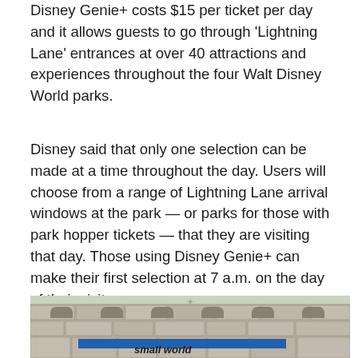Disney Genie+ costs $15 per ticket per day and it allows guests to go through 'Lightning Lane' entrances at over 40 attractions and experiences throughout the four Walt Disney World parks.
Disney said that only one selection can be made at a time throughout the day. Users will choose from a range of Lightning Lane arrival windows at the park — or parks for those with park hopper tickets — that they are visiting that day. Those using Disney Genie+ can make their first selection at 7 a.m. on the day of their visit.
[Figure (photo): Photo of a stone castle-style wall with arched windows and a decorative sign reading 'small world' with blue and white colors, consistent with the 'It's a Small World' attraction at Walt Disney World.]